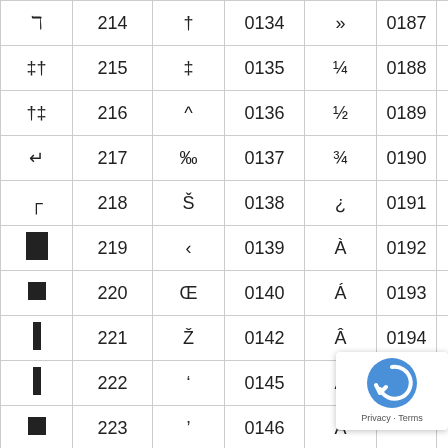| sym | num | sym2 | num2 | sym3 | num3 | sym4 |
| --- | --- | --- | --- | --- | --- | --- |
| ℸ | 214 | † | 0134 | » | 0187 |  |
| # | 215 | ‡ | 0135 | ¼ | 0188 |  |
| † | 216 | ^ | 0136 | ½ | 0189 |  |
| ↵ | 217 | ‰ | 0137 | ¾ | 0190 |  |
| ⌐ | 218 | Š | 0138 | ¿ | 0191 |  |
| ■ | 219 | ‹ | 0139 | À | 0192 |  |
| ■ | 220 | Œ | 0140 | Á | 0193 |  |
| ▌ | 221 | Ž | 0142 | Â | 0194 |  |
| ▐ | 222 | ' | 0145 | Ã | 0195 |  |
| ■ | 223 | ' | 0146 | Ä |  |  |
| α | 224 | " | 0147 | Å | 0197 |  |